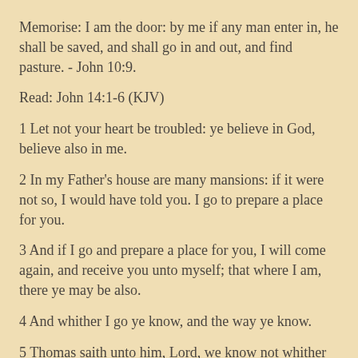Memorise: I am the door: by me if any man enter in, he shall be saved, and shall go in and out, and find pasture. - John 10:9.
Read: John 14:1-6 (KJV)
1 Let not your heart be troubled: ye believe in God, believe also in me.
2 In my Father's house are many mansions: if it were not so, I would have told you. I go to prepare a place for you.
3 And if I go and prepare a place for you, I will come again, and receive you unto myself; that where I am, there ye may be also.
4 And whither I go ye know, and the way ye know.
5 Thomas saith unto him, Lord, we know not whither thou goest; and how can we know the way?